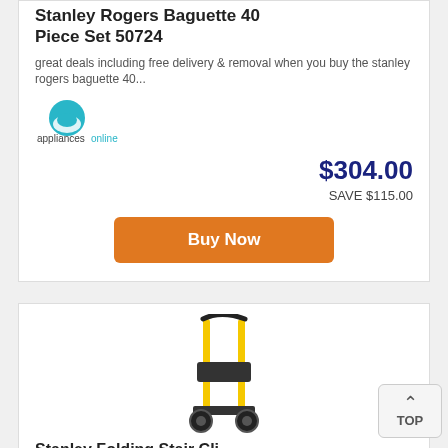Stanley Rogers Baguette 40 Piece Set 50724
great deals including free delivery & removal when you buy the stanley rogers baguette 40...
[Figure (logo): appliancesonline logo with teal wave/circle icon and brand name]
$304.00
SAVE $115.00
Buy Now
[Figure (photo): A yellow and black folding stair climbing hand truck / dolly on white background]
Stanley Folding Stair Cli...